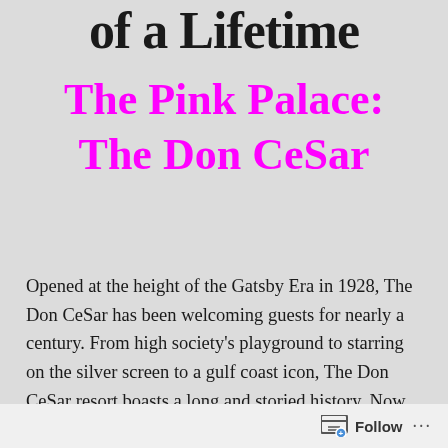of a Lifetime
The Pink Palace: The Don CeSar
Opened at the height of the Gatsby Era in 1928, The Don CeSar has been welcoming guests for nearly a century. From high society’s playground to starring on the silver screen to a gulf coast icon, The Don CeSar resort boasts a long and storied history. Now it’s your turn. Our Pink Palace is the destination on
Follow ...